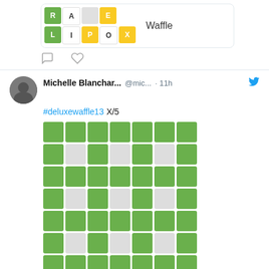[Figure (screenshot): Top of a tweet card showing a Waffle game grid image and the text 'Waffle']
[Figure (other): Comment and like action icons]
Michelle Blanchar... @mic... · 11h
#deluxewaffle13 X/5
[Figure (other): 7x7 waffle game result grid with green and white squares]
wafflegame.net
[Figure (screenshot): Bottom tweet card showing Waffle game board with letters F,E,N,E,D,L,E,T,L,T,S,I,U,R,A,E,L,I,P,O,X and text 'wafflegame.net / Waffle']